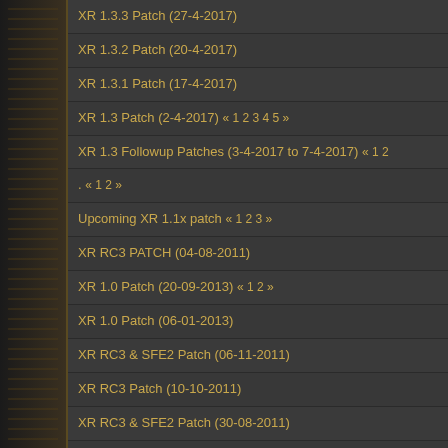XR 1.3.3 Patch (27-4-2017)
XR 1.3.2 Patch (20-4-2017)
XR 1.3.1 Patch (17-4-2017)
XR 1.3 Patch (2-4-2017) « 1 2 3 4 5 »
XR 1.3 Followup Patches (3-4-2017 to 7-4-2017) « 1 2
. « 1 2 »
Upcoming XR 1.1x patch « 1 2 3 »
XR RC3 PATCH (04-08-2011)
XR 1.0 Patch (20-09-2013) « 1 2 »
XR 1.0 Patch (06-01-2013)
XR RC3 & SFE2 Patch (06-11-2011)
XR RC3 Patch (10-10-2011)
XR RC3 & SFE2 Patch (30-08-2011)
XR RC3 & SFE2 Patch (24-08-2011)